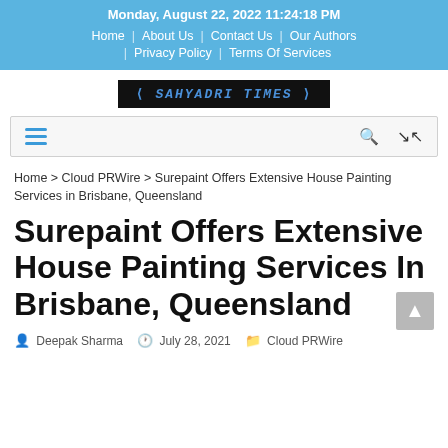Monday, August 22, 2022 11:24:18 PM
Home | About Us | Contact Us | Our Authors | Privacy Policy | Terms Of Services
[Figure (logo): Sahyadri Times logo — black background with blue angled-bracket styled text]
[Figure (screenshot): Navigation menu bar with hamburger icon on the left and search/shuffle icons on the right]
Home > Cloud PRWire > Surepaint Offers Extensive House Painting Services in Brisbane, Queensland
Surepaint Offers Extensive House Painting Services In Brisbane, Queensland
Deepak Sharma  July 28, 2021  Cloud PRWire